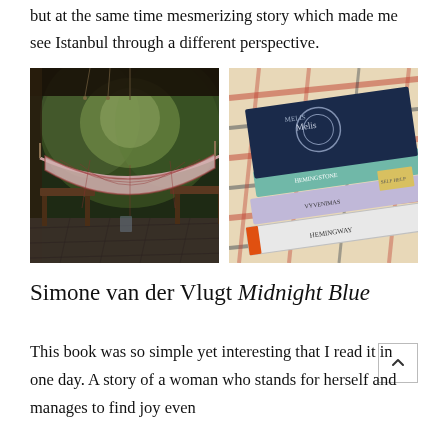but at the same time mesmerizing story which made me see Istanbul through a different perspective.
[Figure (photo): A shaded porch or cabin veranda with a plaid hammock draped over wooden furniture, surrounded by lush green trees in the background.]
[Figure (photo): A stack of books on a plaid blanket, with visible titles including Midnight Blue by Melis and a Hemingway book, with a teal spine and an orange spine visible.]
Simone van der Vlugt Midnight Blue
This book was so simple yet interesting that I read it in one day. A story of a woman who stands for herself and manages to find joy even